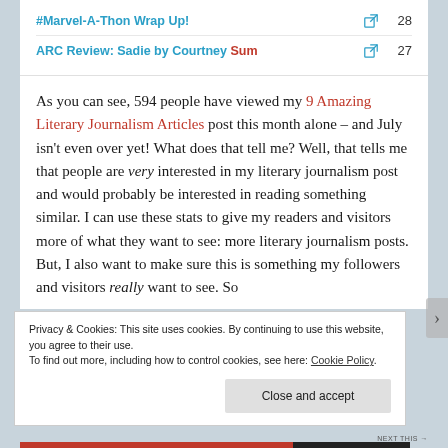| Title |  | Views |
| --- | --- | --- |
| #Marvel-A-Thon Wrap Up! | ↗ | 28 |
| ARC Review: Sadie by Courtney Sum… | ↗ | 27 |
As you can see, 594 people have viewed my 9 Amazing Literary Journalism Articles post this month alone – and July isn't even over yet! What does that tell me? Well, that tells me that people are very interested in my literary journalism post and would probably be interested in reading something similar. I can use these stats to give my readers and visitors more of what they want to see: more literary journalism posts. But, I also want to make sure this is something my followers and visitors really want to see. So
Privacy & Cookies: This site uses cookies. By continuing to use this website, you agree to their use.
To find out more, including how to control cookies, see here: Cookie Policy